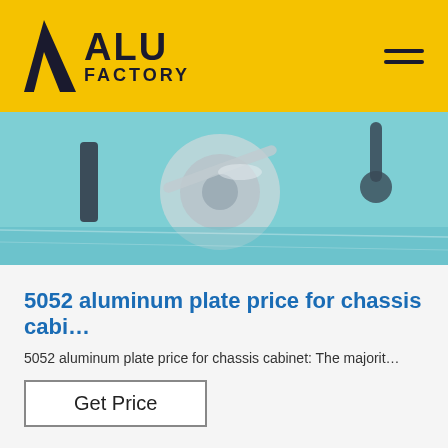ALU FACTORY
[Figure (photo): Close-up photo of aluminum parts being machined or processed, with metallic components visible against a teal/green background]
5052 aluminum plate price for chassis cabi…
5052 aluminum plate price for chassis cabinet: The majorit…
Get Price
[Figure (photo): Close-up photo of smooth aluminum sheet/plate surface with metallic sheen, with a blue dotted circular TOP badge in the lower right]